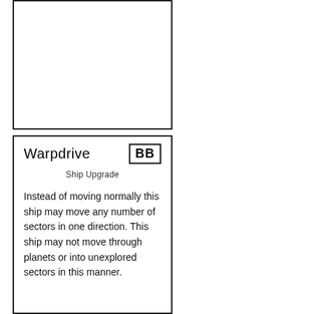[Figure (other): Empty card frame (top card, no content visible)]
Warpdrive
BB
Ship Upgrade
Instead of moving normally this ship may move any number of sectors in one direction. This ship may not move through planets or into unexplored sectors in this manner.